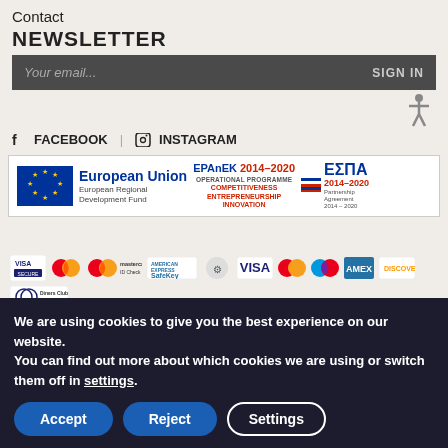Contact
NEWSLETTER
Your email...   SIGN IN
FACEBOOK   INSTAGRAM
[Figure (logo): European Union European Regional Development Fund / EPAnEK 2014-2020 Operational Programme Competitiveness Entrepreneurship Innovation / ΕΣΠΑ 2014-2020 Partnership Agreement 2014-2020 banner]
[Figure (infographic): Payment method logos: VISA Secure, Mastercard, Mastercard ID Check, American Express SafeKey, Mastercard ProtectBuy, VISA, Mastercard, Maestro, American Express, Discover, Diners Club International]
We are using cookies to give you the best experience on our website.
You can find out more about which cookies we are using or switch them off in settings.
Accept   Reject   Settings